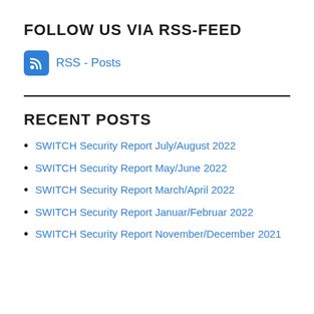FOLLOW US VIA RSS-FEED
RSS - Posts
RECENT POSTS
SWITCH Security Report July/August 2022
SWITCH Security Report May/June 2022
SWITCH Security Report March/April 2022
SWITCH Security Report Januar/Februar 2022
SWITCH Security Report November/December 2021